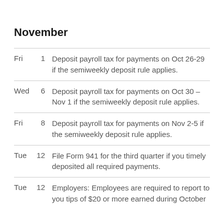November
Fri 1 Deposit payroll tax for payments on Oct 26-29 if the semiweekly deposit rule applies.
Wed 6 Deposit payroll tax for payments on Oct 30 – Nov 1 if the semiweekly deposit rule applies.
Fri 8 Deposit payroll tax for payments on Nov 2-5 if the semiweekly deposit rule applies.
Tue 12 File Form 941 for the third quarter if you timely deposited all required payments.
Tue 12 Employers: Employees are required to report to you tips of $20 or more earned during October